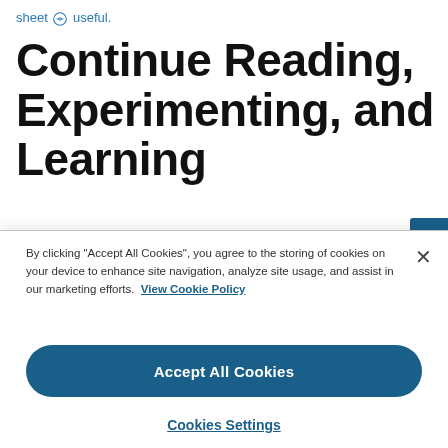sheet 🔗 useful.
Continue Reading, Experimenting, and Learning
By clicking "Accept All Cookies", you agree to the storing of cookies on your device to enhance site navigation, analyze site usage, and assist in our marketing efforts. View Cookie Policy
Accept All Cookies
Cookies Settings